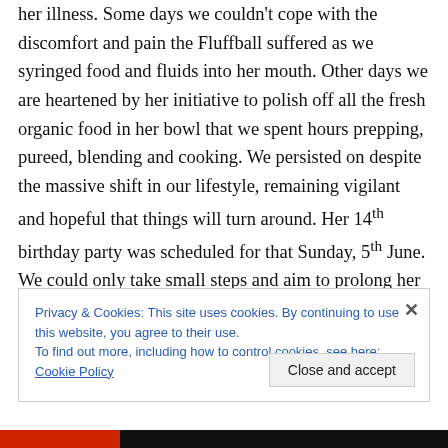her illness. Some days we couldn't cope with the discomfort and pain the Fluffball suffered as we syringed food and fluids into her mouth. Other days we are heartened by her initiative to polish off all the fresh organic food in her bowl that we spent hours prepping, pureed, blending and cooking. We persisted on despite the massive shift in our lifestyle, remaining vigilant and hopeful that things will turn around. Her 14th birthday party was scheduled for that Sunday, 5th June. We could only take small steps and aim to prolong her longevity by yet another day…
Privacy & Cookies: This site uses cookies. By continuing to use this website, you agree to their use.
To find out more, including how to control cookies, see here: Cookie Policy
Close and accept